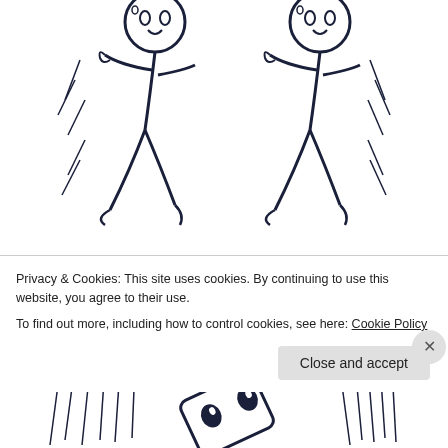[Figure (illustration): Two stick-figure style cartoon characters drawn in sketchy style, crouching or cowering, with motion lines indicating distress or shaking. Two figures side by side at the top of the page.]
Everybody reaches a breaking Point.
[Figure (illustration): A cartoon character (round face/head shape) fallen or knocked down amid chaotic motion lines, drawn in sketchy black and white comic style.]
Privacy & Cookies: This site uses cookies. By continuing to use this website, you agree to their use.
To find out more, including how to control cookies, see here: Cookie Policy
Close and accept